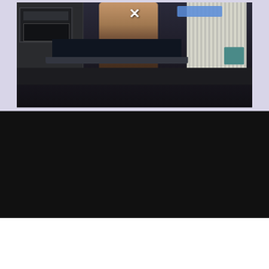[Figure (screenshot): Video player screenshot showing a dark kitchen scene with a person standing at a counter with a laptop. A white X close button is visible at top center, and a blue button on the upper right. The scene shows dark cabinetry on the left, vertical white stripes on the right, and a teal chair in the background.]
[Figure (other): Dark section below the video player, appears to be a dark background area of the webpage.]
[Figure (other): Advertisement banner for afterpay at Jack Black. Left side shows 'afterpay' logo with arrow icons on a light blue diamond-patterned background with product bottles visible, and text 'Now at Jack Black'. Right side shows Jack Black brand logo with cursive text, 'Authentic and Original' tagline, and a 'SHOP NOW' black button. Top right has play and close icons.]